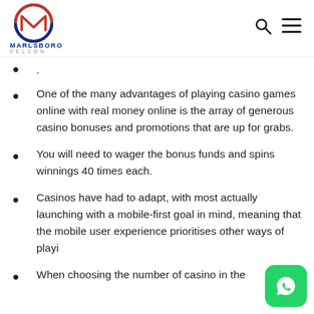[Figure (logo): Marlsboro Velcon logo with circular emblem containing stylized M/W shape in red and blue, company name MARLSBORO in blue and VELCON in grey below]
One of the many advantages of playing casino games online with real money online is the array of generous casino bonuses and promotions that are up for grabs.
You will need to wager the bonus funds and spins winnings 40 times each.
Casinos have had to adapt, with most actually launching with a mobile-first goal in mind, meaning that the mobile user experience prioritises other ways of playi
When choosing the number of casino in the...